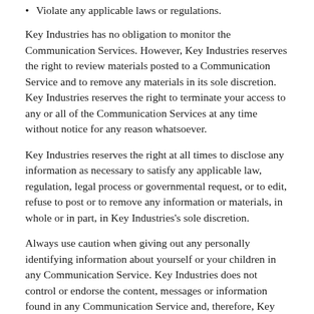Violate any applicable laws or regulations.
Key Industries has no obligation to monitor the Communication Services. However, Key Industries reserves the right to review materials posted to a Communication Service and to remove any materials in its sole discretion. Key Industries reserves the right to terminate your access to any or all of the Communication Services at any time without notice for any reason whatsoever.
Key Industries reserves the right at all times to disclose any information as necessary to satisfy any applicable law, regulation, legal process or governmental request, or to edit, refuse to post or to remove any information or materials, in whole or in part, in Key Industries's sole discretion.
Always use caution when giving out any personally identifying information about yourself or your children in any Communication Service. Key Industries does not control or endorse the content, messages or information found in any Communication Service and, therefore, Key Industries